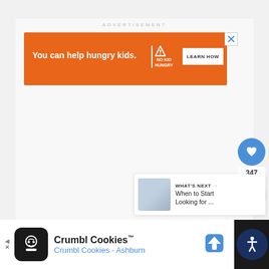ADVERTISEMENT
[Figure (infographic): Orange advertisement banner for No Kid Hungry charity. Text reads: 'You can help hungry kids.' with No Kid Hungry logo and 'LEARN HOW' button. Close button (X) in top right corner.]
[Figure (infographic): Blue circular like/heart button with heart icon, below it a count of 347, then a white circular share button with share icon.]
[Figure (infographic): What's Next card with thumbnail image and text: 'WHAT'S NEXT → When to Start Looking for ...']
[Figure (infographic): Bottom advertisement bar for Crumbl Cookies with logo icon, 'Crumbl Cookies™' title, 'Crumbl Cookies - Ashburn' subtitle in blue, map pin navigation icon, and accessibility button on the right.]